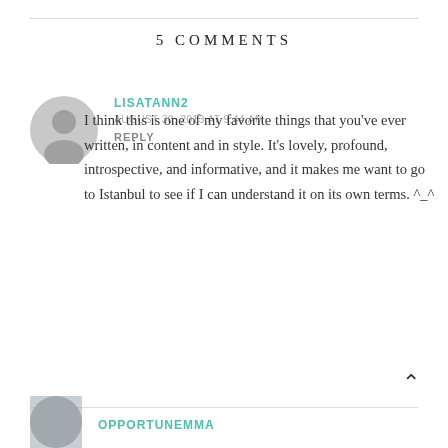5 COMMENTS
LISATANN2
AUGUST 30, 2013 AT 9:44 AM
REPLY
I think this is one of my favorite things that you've ever written, in content and in style. It's lovely, profound, introspective, and informative, and it makes me want to go to Istanbul to see if I can understand it on its own terms. ^_^
OPPORTUNEMMA